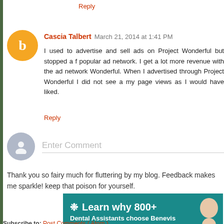Reply
Cascia Talbert  March 21, 2014 at 1:41 PM
I used to advertise and sell ads on Project Wonderful but stopped a f popular ad network. I get a lot more revenue with the ad network Wonderful. When I advertised through Project Wonderful I did not see a my page views as I would have liked.
Reply
Enter Comment
Thank you so fairy much for fluttering by my blog. Feedback makes me sparkle! keep that poison for yourself.
[Figure (illustration): Benevis dental advertisement banner: teal background with flower icon, text 'Learn why 800+ Dental Assistants choose Benevis' and a woman smiling]
Newer Post  •  •  •  •  •  •  •  •  •  Home  •  •  •  •  •
Subscribe to: Post Comments ( Atom )